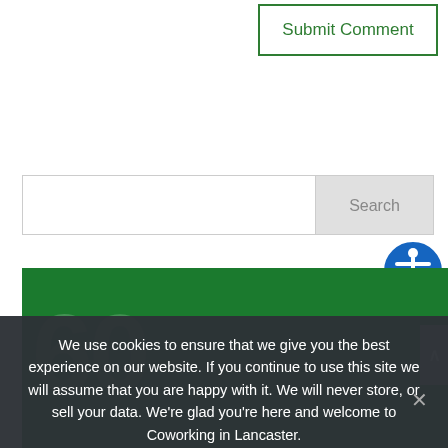[Figure (screenshot): Submit Comment button with green border and green text on white background]
[Figure (screenshot): Search bar with white input field and gray Search button]
[Figure (screenshot): Blue accessibility icon with white person figure inside circle]
[Figure (screenshot): Green banner image with large faded numbers in background]
We use cookies to ensure that we give you the best experience on our website. If you continue to use this site we will assume that you are happy with it. We will never store, or sell your data. We’re glad you’re here and welcome to Coworking in Lancaster.
[Figure (screenshot): Ok button in green on dark cookie consent overlay]